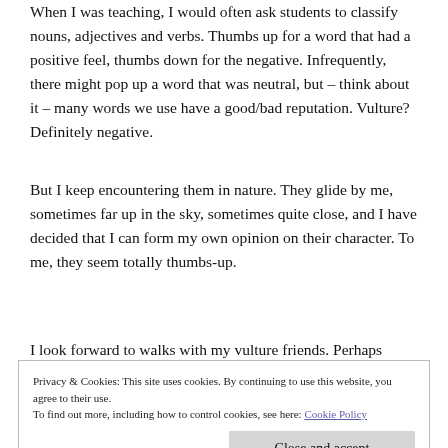When I was teaching, I would often ask students to classify nouns, adjectives and verbs. Thumbs up for a word that had a positive feel, thumbs down for the negative. Infrequently, there might pop up a word that was neutral, but – think about it – many words we use have a good/bad reputation. Vulture? Definitely negative.
But I keep encountering them in nature. They glide by me, sometimes far up in the sky, sometimes quite close, and I have decided that I can form my own opinion on their character. To me, they seem totally thumbs-up.
I look forward to walks with my vulture friends. Perhaps
Privacy & Cookies: This site uses cookies. By continuing to use this website, you agree to their use. To find out more, including how to control cookies, see here: Cookie Policy
beach. They make me take notice with a persistent presence